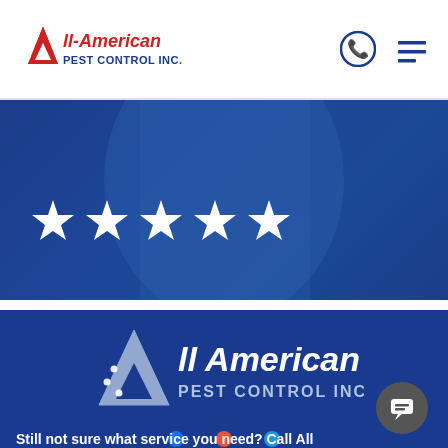[Figure (logo): All-American Pest Control Inc. logo with red A and stars]
[Figure (infographic): Blue hero banner with 5 white stars on dark blue overlay background]
All-American Pest Control received an average rating of 5.0 out of 5 stars from 925 reviews. 5.0 ★★★★★ Read Google Reviews
[Figure (logo): All American Pest Control Inc. white logo on dark blue background]
Still not sure what service you need? Call All American Pest Control Today! (615) 824-